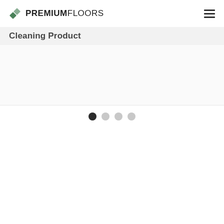PREMIUMFLOORS
Cleaning Product
[Figure (screenshot): Product image carousel area (mostly white/empty) with four pagination dots below it — one dark (active) and three light grey (inactive).]